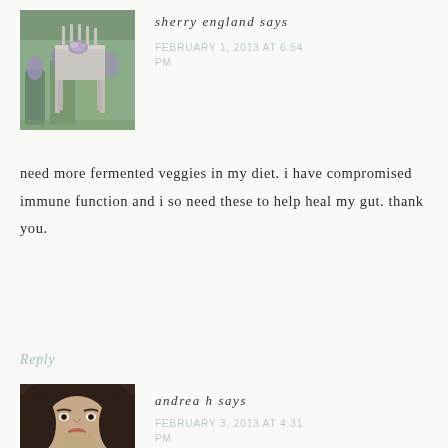[Figure (photo): Avatar photo of sherry england showing a white garden chair with lavender flowers in background]
sherry england says
FEBRUARY 1, 2013 AT 6:54 PM
need more fermented veggies in my diet. i have compromised immune function and i so need these to help heal my gut. thank you.
Reply
[Figure (photo): Avatar photo of andrea h showing a woman with dark hair]
andrea h says
FEBRUARY 3, 2013 AT 4:31 PM